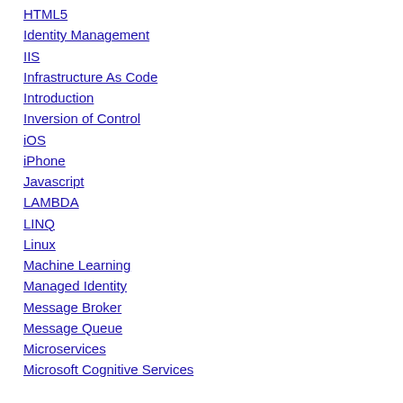HTML5
Identity Management
IIS
Infrastructure As Code
Introduction
Inversion of Control
iOS
iPhone
Javascript
LAMBDA
LINQ
Linux
Machine Learning
Managed Identity
Message Broker
Message Queue
Microservices
Microsoft Cognitive Services